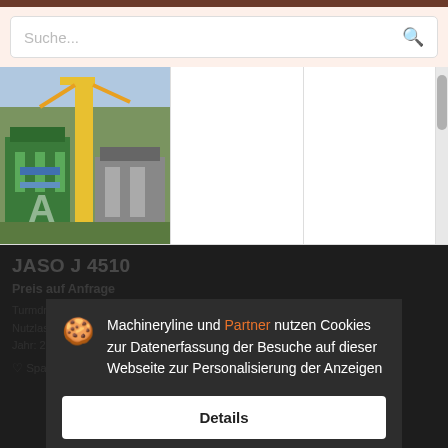[Figure (screenshot): Search bar with placeholder text 'Suche...' and a magnifying glass icon on a light peach background]
[Figure (photo): Industrial crane/construction machinery photo with yellow and green equipment]
JASO J 4510
Preis auf Anfrage
Machineryline und Partner nutzen Cookies zur Datenerfassung der Besuche auf dieser Webseite zur Personalisierung der Anzeigen
Details
Akzeptieren und schließen